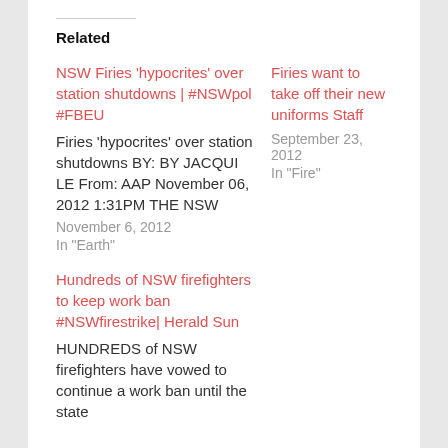Related
NSW Firies 'hypocrites' over station shutdowns | #NSWpol #FBEU
Firies 'hypocrites' over station shutdowns BY: BY JACQUI LE From: AAP November 06, 2012 1:31PM THE NSW
November 6, 2012
In "Earth"
Firies want to take off their new uniforms Staff
September 23, 2012
In "Fire"
Hundreds of NSW firefighters to keep work ban #NSWfirestrike| Herald Sun
HUNDREDS of NSW firefighters have vowed to continue a work ban until the state